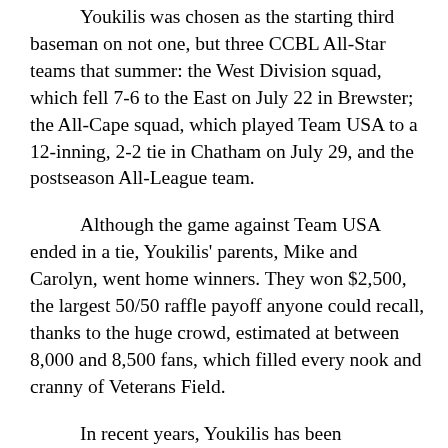Youkilis was chosen as the starting third baseman on not one, but three CCBL All-Star teams that summer: the West Division squad, which fell 7-6 to the East on July 22 in Brewster; the All-Cape squad, which played Team USA to a 12-inning, 2-2 tie in Chatham on July 29, and the postseason All-League team.
Although the game against Team USA ended in a tie, Youkilis' parents, Mike and Carolyn, went home winners. They won $2,500, the largest 50/50 raffle payoff anyone could recall, thanks to the huge crowd, estimated at between 8,000 and 8,500 fans, which filled every nook and cranny of Veterans Field.
In recent years, Youkilis has been mentioned as a possible candidate for election to the Cape League Hall of Fame, but he made it clear that any such honor would have to wait until after his retirement. With that requirement now met, it seems only a matter of